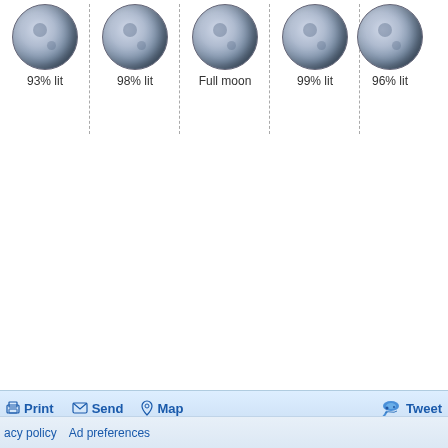[Figure (infographic): Row of moon phase icons with labels: 93% lit, 98% lit, Full moon, 99% lit, 96% lit (partially cropped)]
[Figure (infographic): Toolbar with Print, Send, Map, and Tweet buttons on a light blue background]
acy policy   Ad preferences